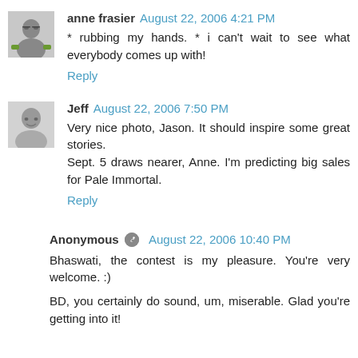[Figure (photo): Avatar photo of anne frasier, small grayscale portrait with glasses and green collar]
anne frasier August 22, 2006 4:21 PM
* rubbing my hands. * i can't wait to see what everybody comes up with!
Reply
[Figure (photo): Avatar photo of Jeff, small grayscale portrait of smiling man]
Jeff August 22, 2006 7:50 PM
Very nice photo, Jason. It should inspire some great stories.
Sept. 5 draws nearer, Anne. I'm predicting big sales for Pale Immortal.
Reply
Anonymous August 22, 2006 10:40 PM
Bhaswati, the contest is my pleasure. You're very welcome. :)
BD, you certainly do sound, um, miserable. Glad you're getting into it!